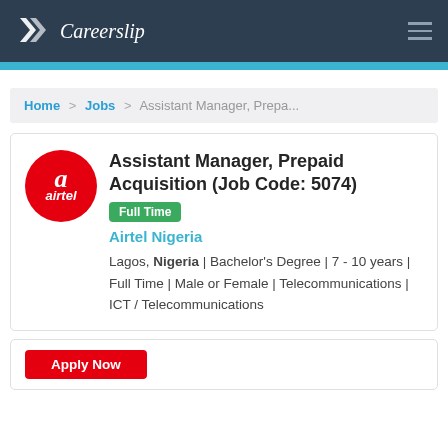Careerslip
Home > Jobs > Assistant Manager, Prepa...
Assistant Manager, Prepaid Acquisition (Job Code: 5074)
Full Time
Airtel Nigeria
Lagos, Nigeria | Bachelor's Degree | 7 - 10 years | Full Time | Male or Female | Telecommunications | ICT / Telecommunications
Apply Now